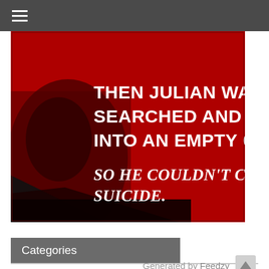Navigation menu (hamburger icon)
[Figure (illustration): Red-tinted image of Julian Assange with bold white text reading: THEN JULIAN WAS STRIPPED SEARCHED AND THROWN INTO AN EMPTY CELL / SO HE COULDN'T COMMIT SUICIDE. Hashtag #FREEASSANGE in bottom right corner.]
Categories
Select Category
Archives
Generated by Feedzy